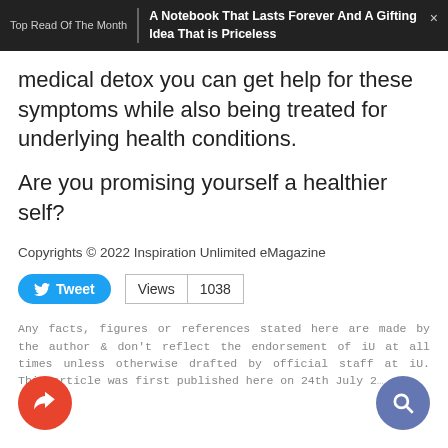Top Read Of The Month | A Notebook That Lasts Forever And A Gifting Idea That is Priceless
medical detox you can get help for these symptoms while also being treated for underlying health conditions.
Are you promising yourself a healthier self?
Copyrights © 2022 Inspiration Unlimited eMagazine
Tweet  Views  1038
Any facts, figures or references stated here are made by the author & don't reflect the endorsement of iU at all times unless otherwise drafted by official staff at iU. This article was first published here on 24th July 2...